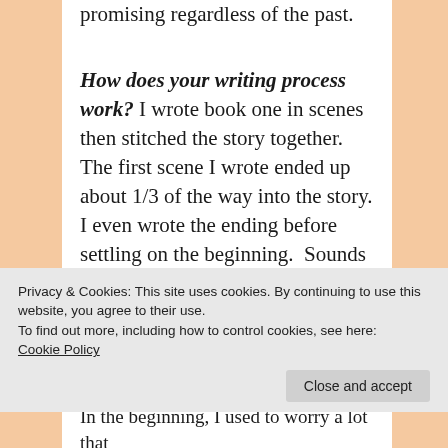promising regardless of the past.
How does your writing process work? I wrote book one in scenes then stitched the story together. The first scene I wrote ended up about 1/3 of the way into the story. I even wrote the ending before settling on the beginning. Sounds weird, but it worked quite well actually. I was very surprised, and
Privacy & Cookies: This site uses cookies. By continuing to use this website, you agree to their use.
To find out more, including how to control cookies, see here: Cookie Policy
Close and accept
In the beginning, I used to worry a lot that